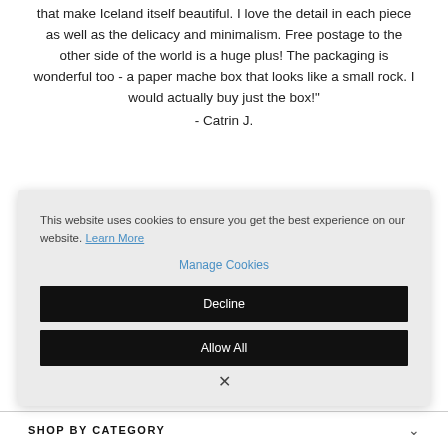that make Iceland itself beautiful. I love the detail in each piece as well as the delicacy and minimalism. Free postage to the other side of the world is a huge plus! The packaging is wonderful too - a paper mache box that looks like a small rock. I would actually buy just the box!"
- Catrin J.
This website uses cookies to ensure you get the best experience on our website. Learn More
Manage Cookies
Decline
Allow All
SHOP BY CATEGORY